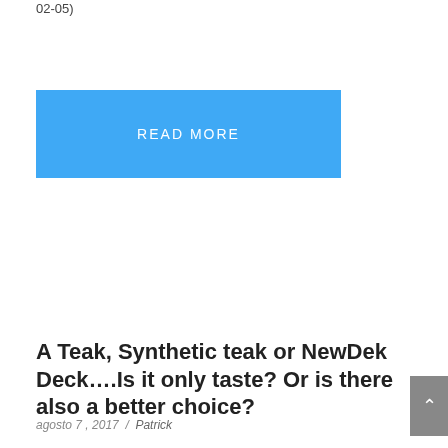02-05)
READ MORE
A Teak, Synthetic teak or NewDek Deck….Is it only taste? Or is there also a better choice?
agosto 7 , 2017 / Patrick